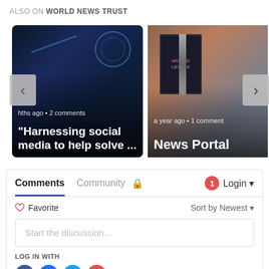ALSO ON WORLD NEWS TRUST
[Figure (screenshot): Carousel with two article cards. Left card shows a sci-fi movie scene with text 'hths ago • 2 comments' and title '"Harnessing social media to help solve ...'. Right card shows a game/media box art with text 'a year ago • 1 comment' and title 'News Portal'. Navigation arrows on each side.]
Comments
Community
1
Login
Favorite
Sort by Newest
Start the discussion...
LOG IN WITH